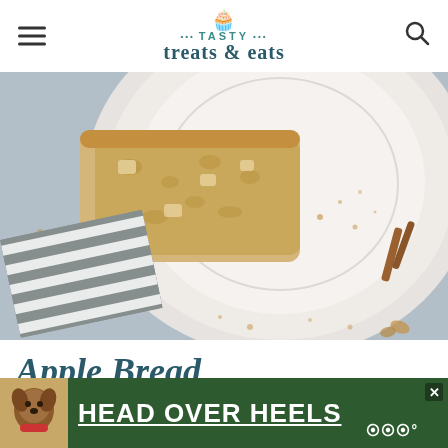TASTY treats & eats
[Figure (photo): Overhead view of a slice of apple bread on a white ceramic plate, with crumbs scattered on a gray-blue surface. A striped gray and white linen napkin is visible in the lower left. Cinnamon sticks are visible to the right.]
Apple Bread
[Figure (photo): Advertisement banner with green background showing a dog and text 'HEAD OVER HEELS' in white bold underlined text.]